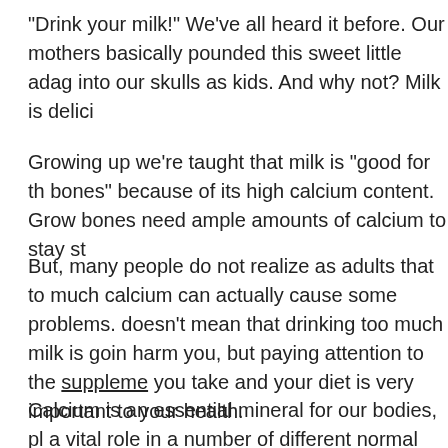"Drink your milk!" We've all heard it before. Our mothers basically pounded this sweet little adag into our skulls as kids. And why not? Milk is delici
Growing up we're taught that milk is "good for th bones" because of its high calcium content. Grow bones need ample amounts of calcium to stay st
But, many people do not realize as adults that to much calcium can actually cause some problems. doesn't mean that drinking too much milk is goin harm you, but paying attention to the supplements you take and your diet is very important to your health.
Calcium is an essential mineral for our bodies, pl a vital role in a number of different normal bodily